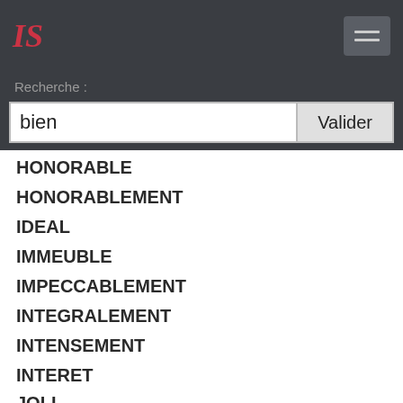IS logo and hamburger menu
Recherche :
bien
HONORABLE
HONORABLEMENT
IDEAL
IMMEUBLE
IMPECCABLEMENT
INTEGRALEMENT
INTENSEMENT
INTERET
JOLI